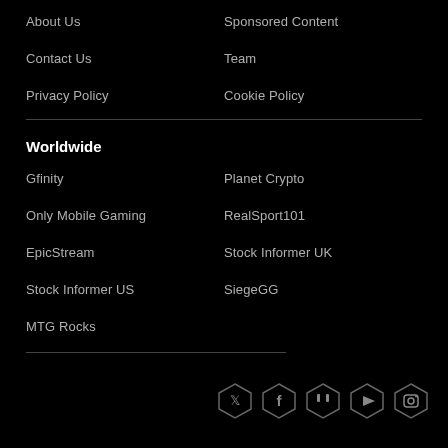About Us
Sponsored Content
Contact Us
Team
Privacy Policy
Cookie Policy
Worldwide
Gfinity
Planet Crypto
Only Mobile Gaming
RealSport101
EpicStream
Stock Informer UK
Stock Informer US
SiegeGG
MTG Rocks
[Figure (illustration): Row of 5 hexagonal social media icons: Twitter, Facebook, Twitch, YouTube, Instagram]